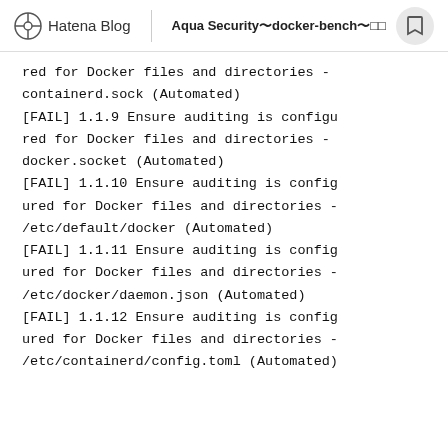Hatena Blog | Aqua Security docker-bench
red for Docker files and directories - containerd.sock (Automated)
[FAIL] 1.1.9 Ensure auditing is configured for Docker files and directories - docker.socket (Automated)
[FAIL] 1.1.10 Ensure auditing is configured for Docker files and directories - /etc/default/docker (Automated)
[FAIL] 1.1.11 Ensure auditing is configured for Docker files and directories - /etc/docker/daemon.json (Automated)
[FAIL] 1.1.12 Ensure auditing is configured for Docker files and directories - /etc/containerd/config.toml (Automated)